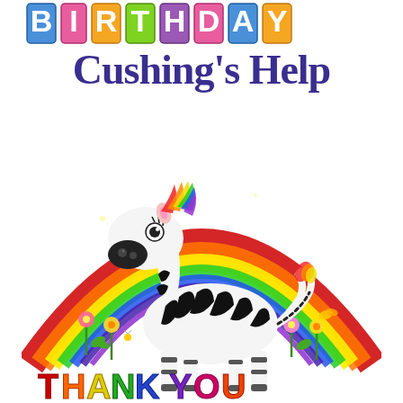BIRTHDAY
Cushing's Help
[Figure (illustration): Cartoon zebra standing under a glittery rainbow with colorful flowers, with 'THANK YOU' text in colorful glittery letters at the bottom]